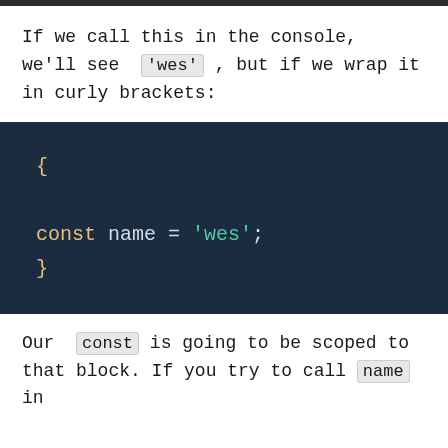If we call this in the console, we'll see 'wes', but if we wrap it in curly brackets:
[Figure (screenshot): Dark blue code editor block showing: { const name = 'wes'; }]
Our const is going to be scoped to that block. If you try to call name in